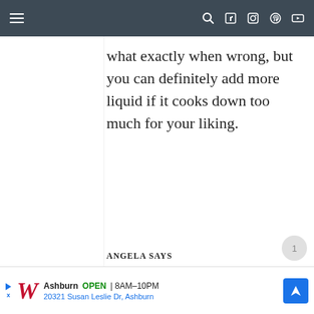Navigation bar with menu and social icons
what exactly when wrong, but you can definitely add more liquid if it cooks down too much for your liking.
ANGELA SAYS
NOVEMBER 23, 2020 AT
11:34 PM
[Figure (other): Walgreens advertisement banner: Ashburn OPEN 8AM-10PM, 20321 Susan Leslie Dr, Ashburn]
Walgreens ad: Ashburn OPEN 8AM-10PM 20321 Susan Leslie Dr, Ashburn